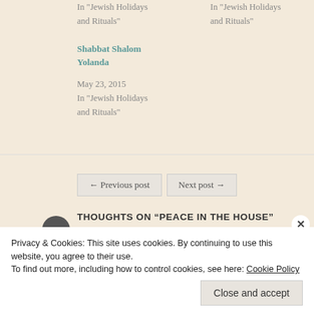In "Jewish Holidays and Rituals"
In "Jewish Holidays and Rituals"
Shabbat Shalom Yolanda
May 23, 2015
In "Jewish Holidays and Rituals"
← Previous post
Next post →
THOUGHTS ON “PEACE IN THE HOUSE”
Privacy & Cookies: This site uses cookies. By continuing to use this website, you agree to their use.
To find out more, including how to control cookies, see here: Cookie Policy
Close and accept